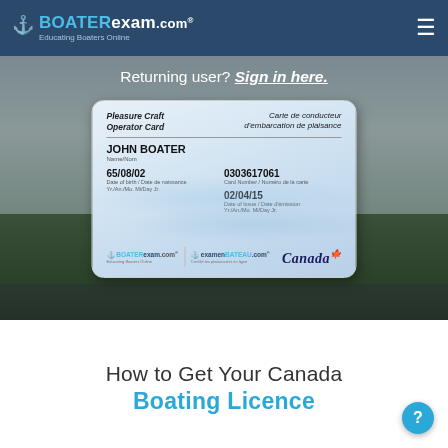BOATERexam.com Educating Boaters Online
Returning user? Sign in here.
[Figure (photo): Pleasure Craft Operator Card (PCOC) showing: JOHN BOATER, Name/Nom, 65/08/02 Date of birth/Date de naissance Yr./An./Mo. Mi/Day Jr., Card Number/Numéro de la carte 0303617061, 02/04/15 Date of Issue/Date d'émission Yr./An./Mo. Mi/Day Jr. Logos: BOATERexam.com Educating Boaters Online, examenBATEAU.com Certifié les plaisanciers en ligne. Canada flag logo.]
How to Get Your Canada Boating Licence